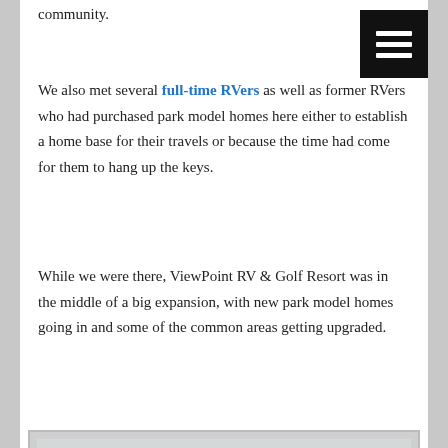community.
We also met several full-time RVers as well as former RVers who had purchased park model homes here either to establish a home base for their travels or because the time had come for them to hang up the keys.
While we were there, ViewPoint RV & Golf Resort was in the middle of a big expansion, with new park model homes going in and some of the common areas getting upgraded.
[Figure (photo): Exterior photo of a new park model home under construction at ViewPoint RV & Golf Resort. The home has gray/tan siding, white trim, a covered front porch with white railings, and multiple windows. A label reading '20844H' is visible at the bottom.]